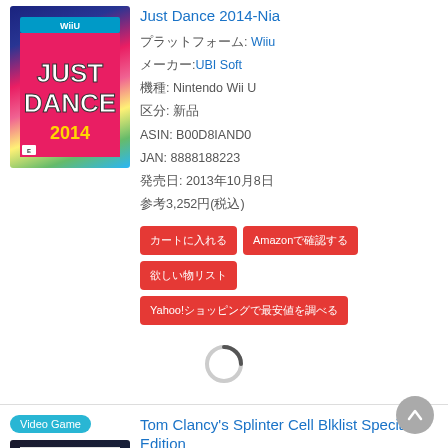[Figure (photo): Just Dance 2014 Wii U game box cover with colorful dancers and 'Just Dance 2014' logo]
Just Dance 2014-Nia
プラットフォーム: Wiiu
メーカー:UBI Soft
機種: Nintendo Wii U
区分: 新品
ASIN: B00D8IAND0
JAN: 8888188223
発売日: 2013年10月8日
参考3,252円(税込)
カートに入れる
Amazonで確認する
欲しい物リスト
Yahoo!ショッピングで最安値を調べる
[Figure (photo): Loading spinner (circular arc icon)]
[Figure (photo): Tom Clancy's Splinter Cell Blacklist Special Edition PS3 game box cover]
Tom Clancy's Splinter Cell Blklist Special Edition
プラットフォーム: Ps3
メーカー:UBI Soft
機種: PlayStation 3
区分: 新品
ASIN: B00DZ3XN12